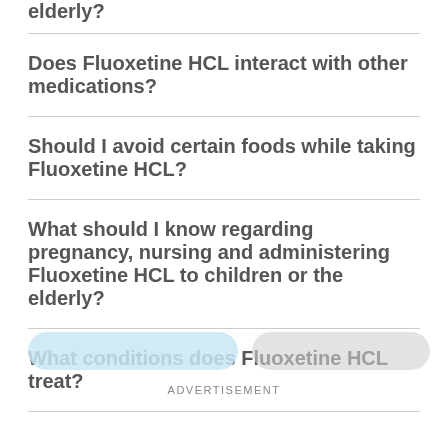elderly?
Does Fluoxetine HCL interact with other medications?
Should I avoid certain foods while taking Fluoxetine HCL?
What should I know regarding pregnancy, nursing and administering Fluoxetine HCL to children or the elderly?
What conditions does Fluoxetine HCL treat?
ADVERTISEMENT